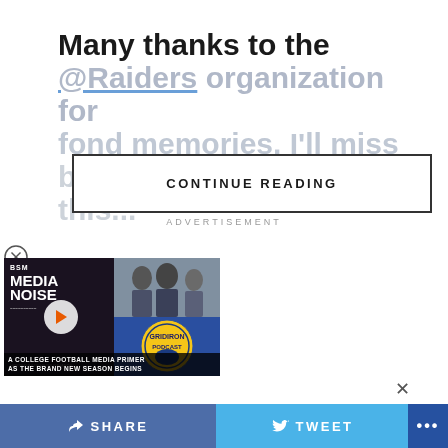Many thanks to the @Raiders organization for fond memories. I'll miss being here more than this...
CONTINUE READING
ADVERTISEMENT
[Figure (screenshot): Media Noise podcast thumbnail with BSM logo, two men in suits, group photo, and Gridiron Podcast logo. Caption: A College Football Media Primer As The Brand New Season Begins]
SHARE
TWEET